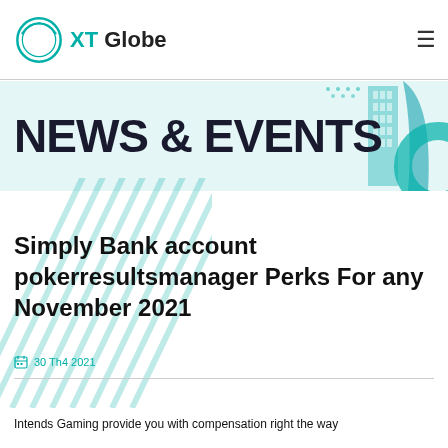XT Globe
NEWS & EVENTS
Simply Bank account pokerresultsmanager Perks For any November 2021
30 Th4 2021
Intends Gaming provide you with compensation right the way